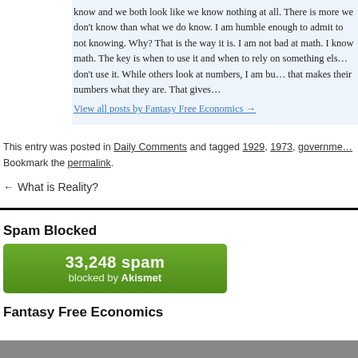know and we both look like we know nothing at all. There is more we don't know than what we do know. I am humble enough to admit to not knowing. Why? That is the way it is. I am not bad at math. I know math. The key is when to use it and when to rely on something else. That is when I don't use it. While others look at numbers, I am busy looking at what makes their numbers what they are. That gives me an edge.
View all posts by Fantasy Free Economics →
This entry was posted in Daily Comments and tagged 1929, 1973, governme... Bookmark the permalink.
← What is Reality?
Spam Blocked
[Figure (infographic): Green Akismet spam blocked widget showing 33,248 spam blocked by Akismet]
Fantasy Free Economics